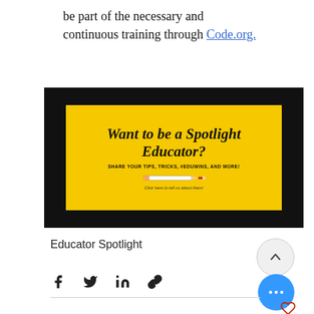be part of the necessary and continuous training through Code.org.
[Figure (infographic): Black banner with yellow inner rectangle. Yellow area contains handwritten-style italic title 'Want to be a Spotlight Educator?', subtitle 'SHARE YOUR TIPS, TRICKS, #EDUWINS, AND MORE!', a pencil illustration, and link text 'Click here to tell us about them!']
Educator Spotlight
[Figure (other): Social share icons: Facebook, Twitter, LinkedIn, link/chain icon, and a blue 'more' button with ellipsis. An up-arrow circle button and a heart icon are also visible.]